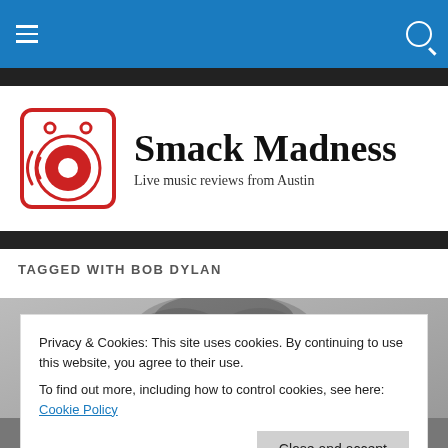Smack Madness – Live music reviews from Austin
Smack Madness
Live music reviews from Austin
TAGGED WITH BOB DYLAN
[Figure (photo): Black and white close-up photo of Bob Dylan]
Privacy & Cookies: This site uses cookies. By continuing to use this website, you agree to their use.
To find out more, including how to control cookies, see here: Cookie Policy
Close and accept